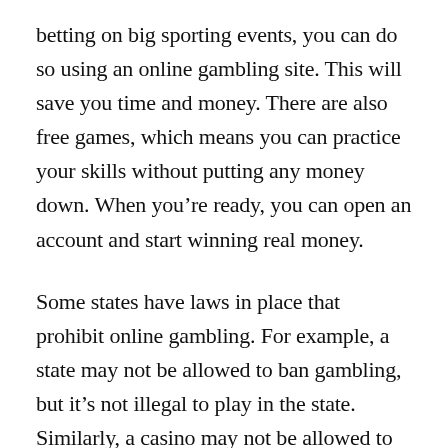betting on big sporting events, you can do so using an online gambling site. This will save you time and money. There are also free games, which means you can practice your skills without putting any money down. When you're ready, you can open an account and start winning real money.
Some states have laws in place that prohibit online gambling. For example, a state may not be allowed to ban gambling, but it's not illegal to play in the state. Similarly, a casino may not be allowed to restrict gambling, but it's important to check whether the state's legality allows it. This type of activity is not illegal, but there are certain restrictions that can prevent you from winning. You need to be careful though.